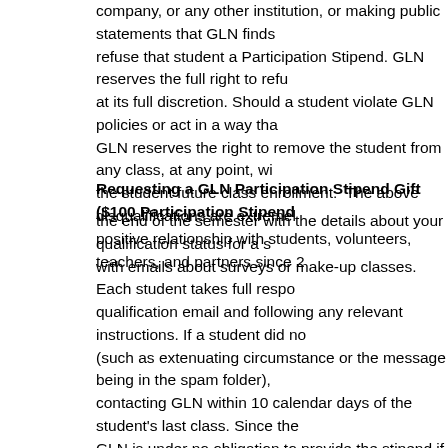company, or any other institution, or making public statements that GLN finds refuse that student a Participation Stipend. GLN reserves the full right to refu at its full discretion. Should a student violate GLN policies or act in a way tha GLN reserves the right to remove the student from any class, at any point, wi the student future class enrollment. The above disqualifications are extremel positive relationship with students, volunteers, teachers, and partners since 2
Requesting a GLN Participation Stipend Gift ($100 Participation Stipend
the end of the semester with the details about your qualification status for a s with emails about surveys or make-up classes. Each student takes full respo qualification email and following any relevant instructions. If a student did no (such as extenuating circumstance or the message being in the spam folder), contacting GLN within 10 calendar days of the student's last class. Since the GLN is under no obligation to provide the stipend if a student fails to respond reason the student did not receive an email from GLN and the student failed t timeline. Please be sure to keep your credit card or PayPal account active as sent back to the original transaction. At the end of the semester, if you are eli we will send you a quick online form to complete. We require a completed for be sure to check your emails and spam box! Due to the very large volume of manually we cannot accept any stipend request beyond the deadline specifie typically give a 2 week window to complete the quick form). We do not accep request for stipends other than our stipend form and must receive a complete deadline in order to process a stipend from your original payment. Any stipen considered a tax-deductible donation to GLN. We begin issuing stipends afte